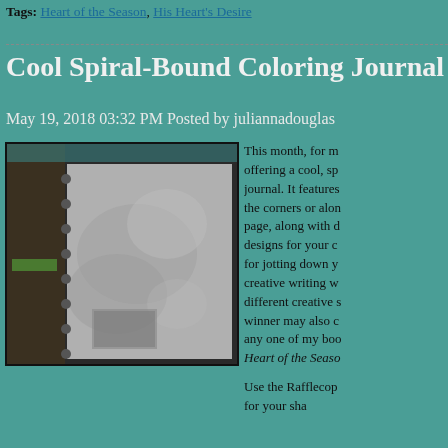Tags: Heart of the Season, His Heart's Desire
Cool Spiral-Bound Coloring Journal + eBoo
May 19, 2018 03:32 PM Posted by juliannadouglas
[Figure (photo): Blurred image of a spiral-bound coloring journal showing decorative page designs]
This month, for m... offering a cool, sp... journal. It features the corners or alon... page, along with d... designs for your c... for jotting down y... creative writing w... different creative s... winner may also c... any one of my boo... Heart of the Seaso...

Use the Rafflecop... for your sha...